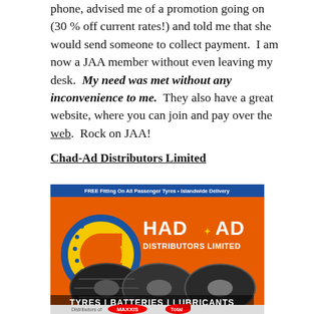phone, advised me of a promotion going on (30% off current rates!) and told me that she would send someone to collect payment. I am now a JAA member without even leaving my desk. My need was met without any inconvenience to me. They also have a great website, where you can join and pay over the web. Rock on JAA!
Chad-Ad Distributors Limited
[Figure (advertisement): Chad-Ad Distributors Limited advertisement featuring large tires, orange background, yellow letter C made of tires, text CHAD AD DISTRIBUTORS LIMITED, TYRES | BATTERIES | LUBRICANTS, FREE Fitting On All Passenger Tyres • Islandwide Delivery, Maxxis and Total logos at bottom]